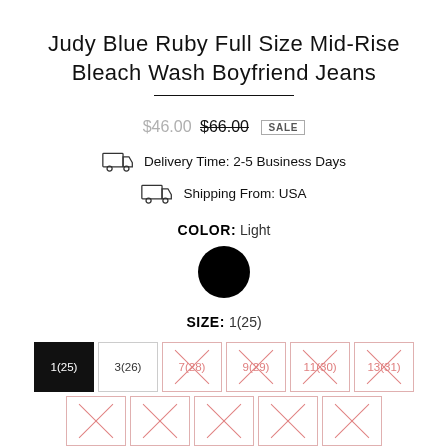Judy Blue Ruby Full Size Mid-Rise Bleach Wash Boyfriend Jeans
$46.00 $66.00 SALE
Delivery Time: 2-5 Business Days
Shipping From: USA
COLOR: Light
[Figure (illustration): Black filled circle representing the selected color swatch]
SIZE: 1(25)
Size options: 1(25) selected, 3(26), 7(28) unavailable, 9(29) unavailable, 11(30) unavailable, 13(31) unavailable, more below